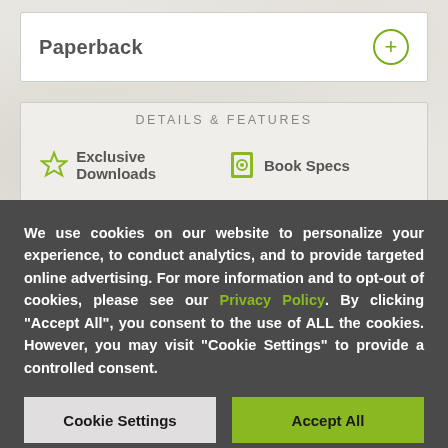Paperback
DETAILS & FEATURES
Exclusive Downloads
Book Specs
We use cookies on our website to personalize your experience, to conduct analytics, and to provide targeted online advertising. For more information and to opt-out of cookies, please see our Privacy Policy. By clicking "Accept All", you consent to the use of ALL the cookies. However, you may visit "Cookie Settings" to provide a controlled consent.
Cookie Settings
Accept All